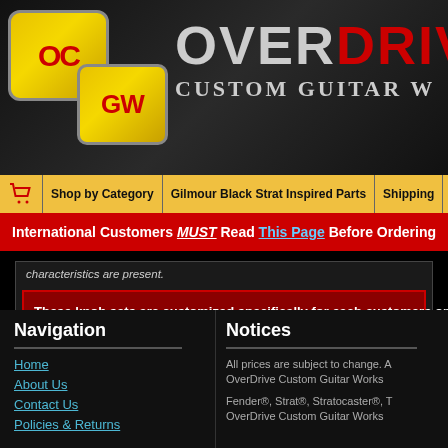[Figure (logo): OverDrive Custom Guitar Works logo with OC/GW badge in yellow/red]
OverDrive Custom Guitar Works
Shop by Category | Gilmour Black Strat Inspired Parts | Shipping | Contact | Ab...
International Customers MUST Read This Page Before Ordering
characteristics are present.
These knob sets are customized specifically for each customers or...
Navigation
Home
About Us
Contact Us
Policies & Returns
Notices
All prices are subject to change. A OverDrive Custom Guitar Works ...
Fender®, Strat®, Stratocaster®, T OverDrive Custom Guitar Works ...